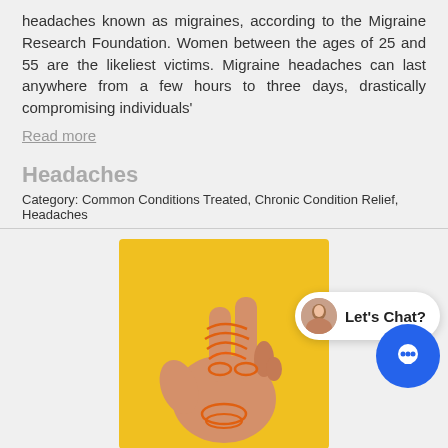headaches known as migraines, according to the Migraine Research Foundation. Women between the ages of 25 and 55 are the likeliest victims. Migraine headaches can last anywhere from a few hours to three days, drastically compromising individuals'
Read more
Headaches
Category: Common Conditions Treated, Chronic Condition Relief, Headaches
[Figure (photo): A hand with orange rubber bands wrapped around the fingers, on a yellow background.]
Headaches affect just about everyone at some point and they can present themselves in many different ways. Some only experience pain in one part of their head or behind eyes, some people experience a pounding sensation inside their whole head, and some people even experience nausea